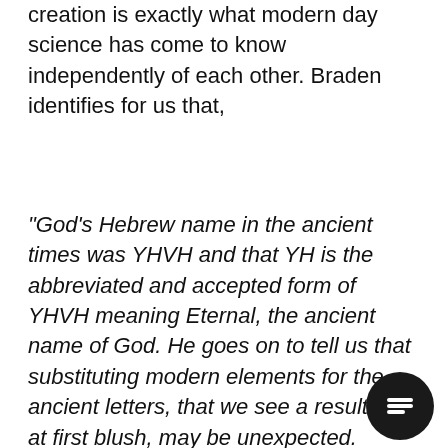creation is exactly what modern day science has come to know independently of each other. Braden identifies for us that,
“God’s Hebrew name in the ancient times was YHVH and that YH is the abbreviated and accepted form of YHVH meaning Eternal, the ancient name of God. He goes on to tell us that substituting modern elements for the ancient letters, that we see a result that, at first blush, may be unexpected. Replacing the final H in YHVH with its chemical equivalent of nitrogen, God’s name becomes the elements hydrogen, nitrogen, oxygen and nitrogen (HNON) – all colorless, odorless, and invisible gases! In